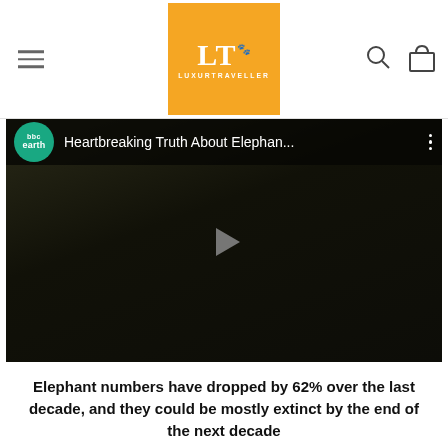[Figure (logo): LuxurTraveller logo - orange square with white LT text and LUXURTRAVELLER text]
[Figure (screenshot): YouTube video thumbnail from BBC Earth titled 'Heartbreaking Truth About Elephan...' with a play button overlay on a dark nature scene]
Elephant numbers have dropped by 62% over the last decade, and they could be mostly extinct by the end of the next decade